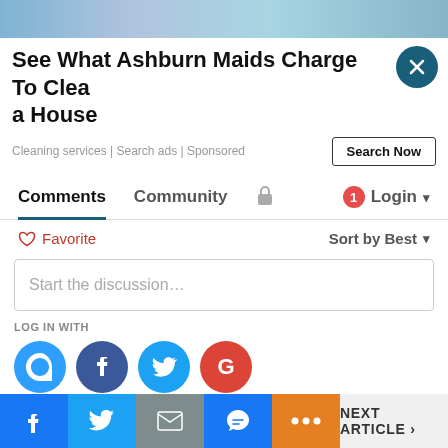[Figure (photo): Partial photo banner at top of page showing cleaning/maids related imagery]
See What Ashburn Maids Charge To Clean a House
Cleaning services | Search ads | Sponsored
Search Now
Comments
Community
1 Login
♡ Favorite
Sort by Best
Start the discussion…
LOG IN WITH
OR SIGN UP WITH DISQUS
Name
NEXT ARTICLE